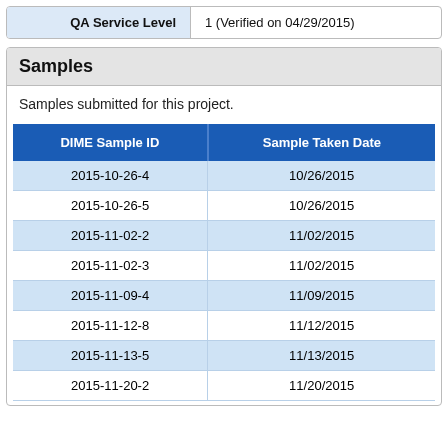| QA Service Level |  |
| --- | --- |
| QA Service Level | 1 (Verified on 04/29/2015) |
Samples
Samples submitted for this project.
| DIME Sample ID | Sample Taken Date |
| --- | --- |
| 2015-10-26-4 | 10/26/2015 |
| 2015-10-26-5 | 10/26/2015 |
| 2015-11-02-2 | 11/02/2015 |
| 2015-11-02-3 | 11/02/2015 |
| 2015-11-09-4 | 11/09/2015 |
| 2015-11-12-8 | 11/12/2015 |
| 2015-11-13-5 | 11/13/2015 |
| 2015-11-20-2 | 11/20/2015 |